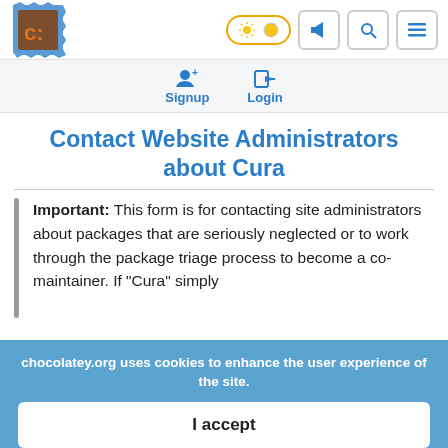[Figure (logo): Chocolatey logo — brown package stamp with 'c:' text]
Signup Login — navigation bar with theme toggle, announcement, search, and menu icons
Contact Website Administrators about Cura
Important: This form is for contacting site administrators about packages that are seriously neglected or to work through the package triage process to become a co-maintainer. If "Cura" simply
chocolatey.org uses cookies to enhance the user experience of the site.
I accept